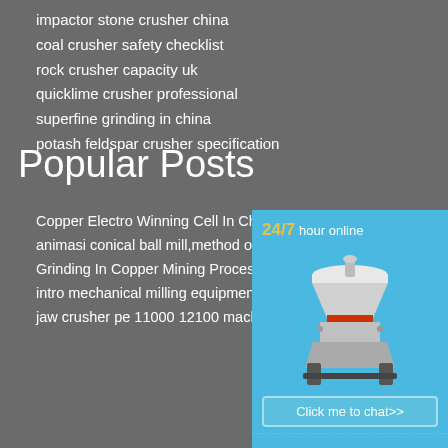impactor stone crusher china
coal crusher safety checklist
rock crusher capacity uk
quicklime crusher professional
superfine grinding in china
potash feldspar crusher specification
Popular Posts
Copper Electro Winning Cell In Chi...
animasi conical ball mill,method of ...
Grinding In Copper Mining Process...
intro mechanical milling equipment ...
jaw crusher pe 11000 12100 machi...
[Figure (infographic): Sidebar with 24/7 hour online text, image of a cone crusher machine, Click me to chat>> button, Enquiry section header, and limingjlmofen text on a blue background.]